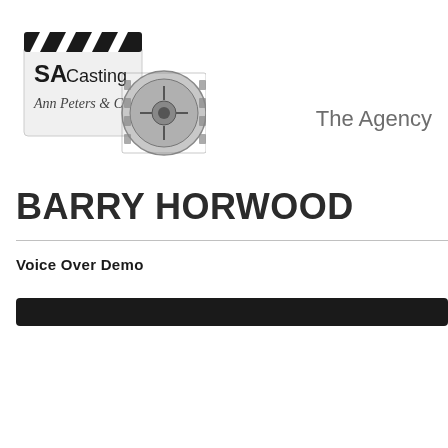[Figure (logo): SA Casting logo with film clapperboard and film reel, with cursive text 'Ann Peters & Co']
The Agency
BARRY HORWOOD
Voice Over Demo
[Figure (other): Dark audio player bar]